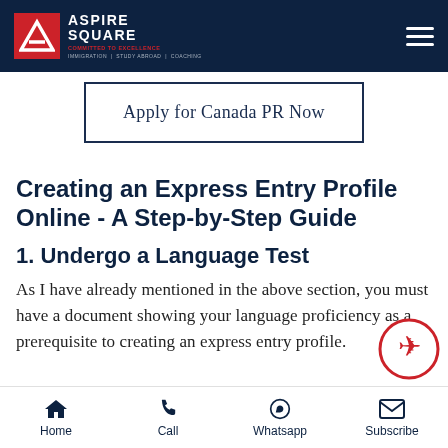Aspire Square — IMMIGRATION | STUDY ABROAD | COACHING
Apply for Canada PR Now
Creating an Express Entry Profile Online - A Step-by-Step Guide
1. Undergo a Language Test
As I have already mentioned in the above section, you must have a document showing your language proficiency as a prerequisite to creating an express entry profile.
Home  Call  Whatsapp  Subscribe